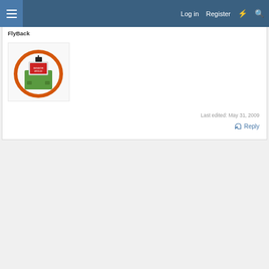Log in  Register
FlyBack
[Figure (photo): A small electronic circuit board (green PCB) with a red component on top labeled with text, connected by an orange wire loop forming a circular shape. A small black connector is visible at the top.]
Last edited: May 31, 2009
Reply